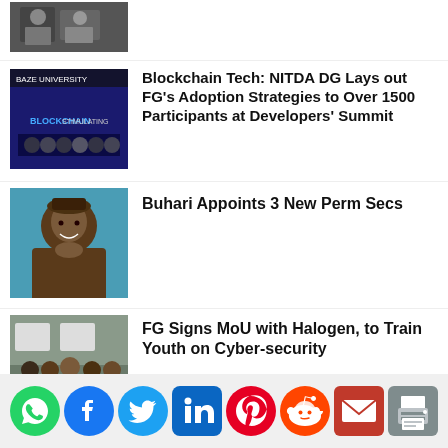[Figure (photo): Military/group photo (partially visible at top)]
[Figure (photo): Baze University blockchain event group photo with participants]
Blockchain Tech: NITDA DG Lays out FG's Adoption Strategies to Over 1500 Participants at Developers' Summit
[Figure (photo): Portrait of Buhari]
Buhari Appoints 3 New Perm Secs
[Figure (photo): Group of officials at signing ceremony]
FG Signs MoU with Halogen, to Train Youth on Cyber-security
[Figure (photo): Portrait of Yemi-Esan (partially visible)]
Yemi-Esan to MDAs: Drive Implementation of Civil Service
[Figure (infographic): Social share icons: WhatsApp, Facebook, Twitter, LinkedIn, Pinterest, Reddit, Email, Print]